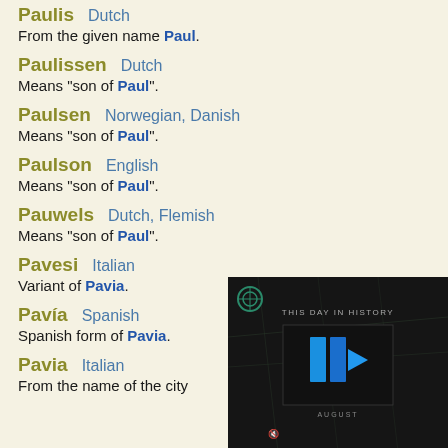Paulis  Dutch
From the given name Paul.
Paulissen  Dutch
Means "son of Paul".
Paulsen  Norwegian, Danish
Means "son of Paul".
Paulson  English
Means "son of Paul".
Pauwels  Dutch, Flemish
Means "son of Paul".
Pavesi  Italian
Variant of Pavia.
Pavía  Spanish
Spanish form of Pavia.
Pavia  Italian
From the name of the city
[Figure (screenshot): Video player overlay showing 'THIS DAY IN HISTORY' with blue play button/pause icon and AUGUST label on dark background]